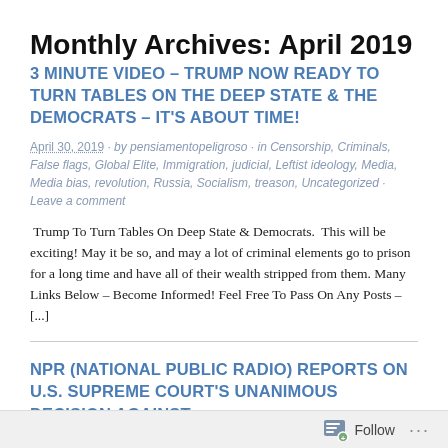Monthly Archives: April 2019
3 MINUTE VIDEO – TRUMP NOW READY TO TURN TABLES ON THE DEEP STATE & THE DEMOCRATS – IT'S ABOUT TIME!
April 30, 2019 · by pensiamentopeligroso · in Censorship, Criminals, False flags, Global Elite, Immigration, judicial, Leftist ideology, Media, Media bias, revolution, Russia, Socialism, treason, Uncategorized · Leave a comment
Trump To Turn Tables On Deep State & Democrats. This will be exciting! May it be so, and may a lot of criminal elements go to prison for a long time and have all of their wealth stripped from them. Many Links Below – Become Informed! Feel Free To Pass On Any Posts – [...]
NPR (NATIONAL PUBLIC RADIO) REPORTS ON U.S. SUPREME COURT'S UNANIMOUS DECISION AGAINST